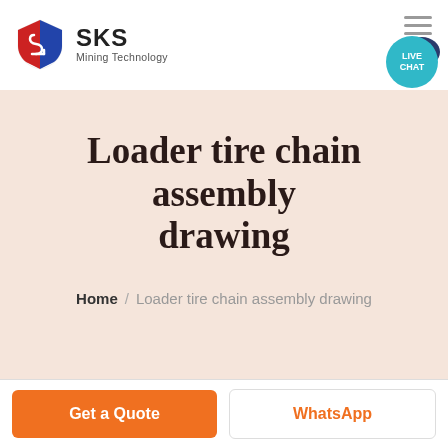[Figure (logo): SKS Mining Technology logo with red/blue shield icon and company name]
Loader tire chain assembly drawing
Home / Loader tire chain assembly drawing
Get a Quote
WhatsApp